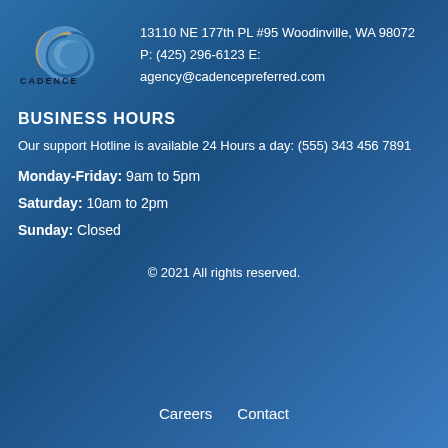[Figure (logo): Cadence Preferred logo with two interlocking circular arrows in blue and gold/tan, with text CADENCE PREFERRED below]
13110 NE 177th PL #95 Woodinville, WA 98072
P: (425) 296-6123 E:
agency@cadencepreferred.com
BUSINESS HOURS
Our support Hotline is available 24 Hours a day: (555) 343 456 7891
Monday-Friday: 9am to 5pm
Saturday: 10am to 2pm
Sunday: Closed
© 2021 All rights reserved.
Careers    Contact